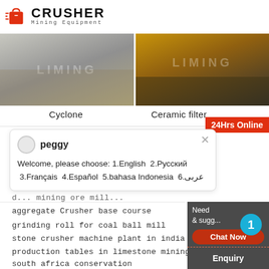[Figure (logo): Crusher Mining Equipment logo with red shopping bag icon and bold text]
[Figure (photo): Two product photos: left shows LIMING branded grey machinery/equipment outdoors; right shows LIMING branded yellow heavy equipment on a truck at night]
Cyclone
Ceramic filter
24Hrs Online
peggy
Welcome, please choose: 1.English  2.Русский  3.Français  4.Español  5.bahasa Indonesia  6.عربى
d... mining ore mill...
aggregate Crusher base course
grinding roll for coal ball mill
stone crusher machine plant in india zenith
production tables in limestone mining
south africa conservation
Need
& sugg...
Chat Now
1
Enquiry
limingjlmofen@sina.com